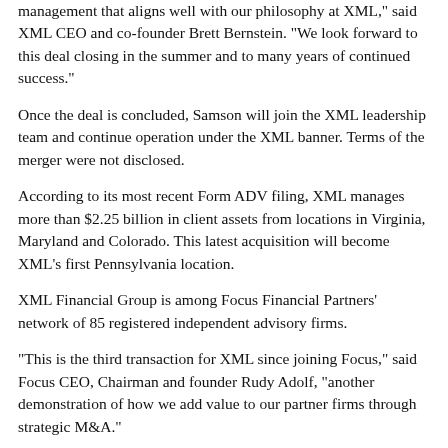management that aligns well with our philosophy at XML," said XML CEO and co-founder Brett Bernstein. "We look forward to this deal closing in the summer and to many years of continued success."
Once the deal is concluded, Samson will join the XML leadership team and continue operation under the XML banner. Terms of the merger were not disclosed.
According to its most recent Form ADV filing, XML manages more than $2.25 billion in client assets from locations in Virginia, Maryland and Colorado. This latest acquisition will become XML’s first Pennsylvania location.
XML Financial Group is among Focus Financial Partners’ network of 85 registered independent advisory firms.
"This is the third transaction for XML since joining Focus," said Focus CEO, Chairman and founder Rudy Adolf, "another demonstration of how we add value to our partner firms through strategic M&A."
TAGS: Industry
0 comments
Hide comments